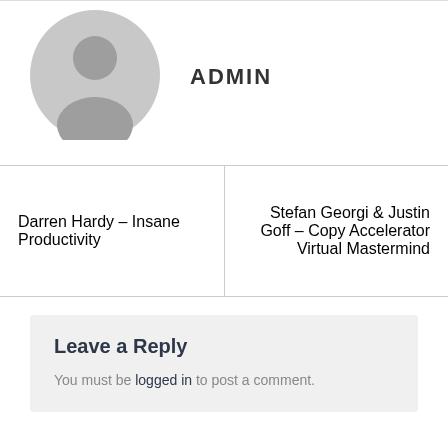[Figure (illustration): Gray avatar/profile icon - circular silhouette of a person]
ADMIN
Darren Hardy – Insane Productivity
Stefan Georgi & Justin Goff – Copy Accelerator Virtual Mastermind
Leave a Reply
You must be logged in to post a comment.